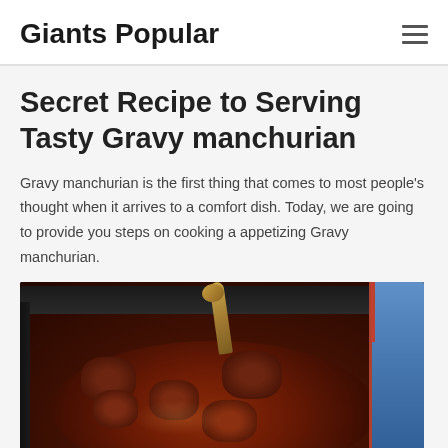Giants Popular
Secret Recipe to Serving Tasty Gravy manchurian
Gravy manchurian is the first thing that comes to most people's thought when it arrives to a comfort dish. Today, we are going to provide you steps on cooking a appetizing Gravy manchurian.
[Figure (photo): A dark pan containing Gravy manchurian — fried dumplings/balls in a rich, dark red-brown sauce, with a golden ladle/spoon, and a blue object visible in the top right corner.]